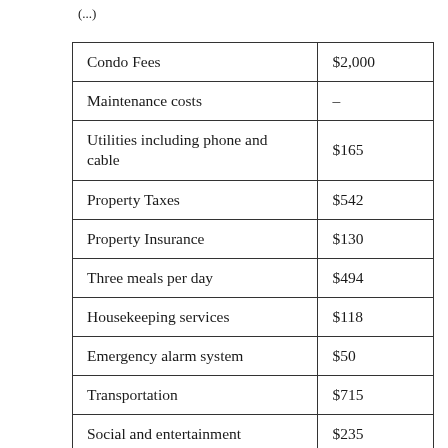| Condo Fees | $2,000 |
| Maintenance costs | – |
| Utilities including phone and cable | $165 |
| Property Taxes | $542 |
| Property Insurance | $130 |
| Three meals per day | $494 |
| Housekeeping services | $118 |
| Emergency alarm system | $50 |
| Transportation | $715 |
| Social and entertainment | $235 |